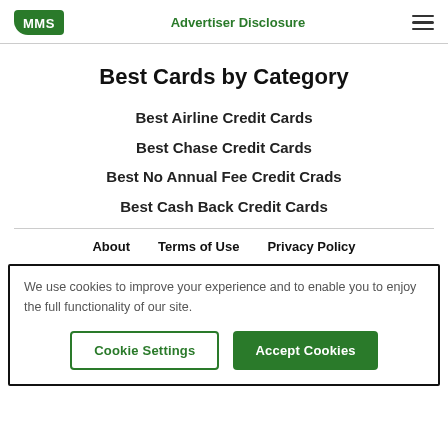MMS | Advertiser Disclosure
Best Cards by Category
Best Airline Credit Cards
Best Chase Credit Cards
Best No Annual Fee Credit Crads
Best Cash Back Credit Cards
About   Terms of Use   Privacy Policy
We use cookies to improve your experience and to enable you to enjoy the full functionality of our site.
Cookie Settings | Accept Cookies